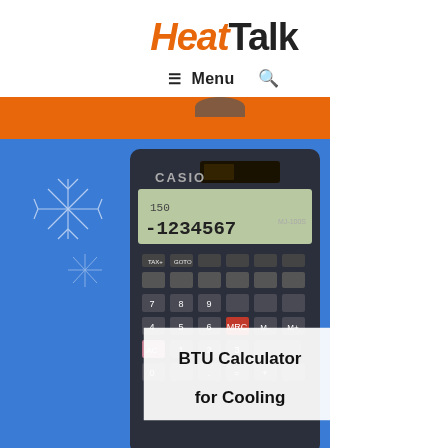HeatTalk
≡ Menu 🔍
[Figure (photo): Orange banner strip, partially showing a circular object at top, followed by a blue-background image of a Casio calculator with snowflake graphic and overlay text reading 'BTU Calculator for Cooling']